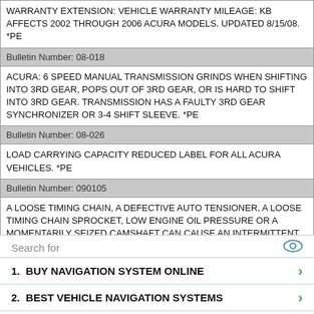WARRANTY EXTENSION: VEHICLE WARRANTY MILEAGE: KB AFFECTS 2002 THROUGH 2006 ACURA MODELS. UPDATED 8/15/08. *PE
| Bulletin Number: 08-018 |
| ACURA: 6 SPEED MANUAL TRANSMISSION GRINDS WHEN SHIFTING INTO 3RD GEAR, POPS OUT OF 3RD GEAR, OR IS HARD TO SHIFT INTO 3RD GEAR. TRANSMISSION HAS A FAULTY 3RD GEAR SYNCHRONIZER OR 3-4 SHIFT SLEEVE. *PE |
| Bulletin Number: 08-026 |
| LOAD CARRYING CAPACITY REDUCED LABEL FOR ALL ACURA VEHICLES. *PE |
| Bulletin Number: 090105 |
| A LOOSE TIMING CHAIN, A DEFECTIVE AUTO TENSIONER, A LOOSE TIMING CHAIN SPROCKET, LOW ENGINE OIL PRESSURE OR A MOMENTARILY SEIZED CAMSHAFT CAN CAUSE AN INTERMITTENT DTC. *JB |
| Bulletin Number: 09012005 |
| POWER DOOR LOCKS WON'T LOCK OR UNLOCK. ACURA. SERVICENEWS. *TT |
| Bulletin Number: 10012004 |
| A/T SOLENOID REPLACEMENT CRITERIA. *NM |
Search for
1.  BUY NAVIGATION SYSTEM ONLINE
2.  BEST VEHICLE NAVIGATION SYSTEMS